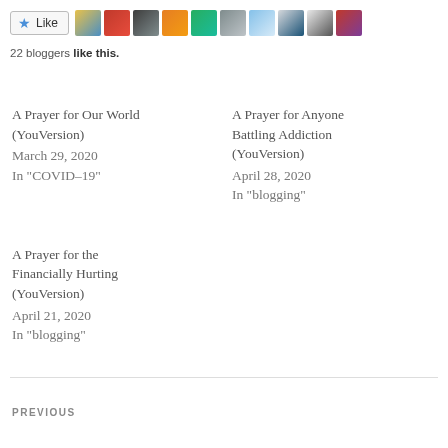[Figure (other): Like button with star icon and 10 blogger avatar thumbnails]
22 bloggers like this.
A Prayer for Our World (YouVersion)
March 29, 2020
In "COVID-19"
A Prayer for Anyone Battling Addiction (YouVersion)
April 28, 2020
In "blogging"
A Prayer for the Financially Hurting (YouVersion)
April 21, 2020
In "blogging"
PREVIOUS